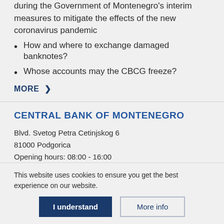during the Government of Montenegro's interim measures to mitigate the effects of the new coronavirus pandemic
How and where to exchange damaged banknotes?
Whose accounts may the CBCG freeze?
MORE >
CENTRAL BANK OF MONTENEGRO
Blvd. Svetog Petra Cetinjskog 6
81000 Podgorica
Opening hours: 08:00 - 16:00
Location
This website uses cookies to ensure you get the best experience on our website.
I understand
More info